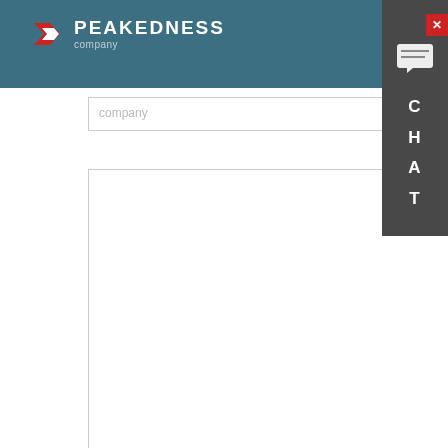PEAKEDNESS company
[Figure (screenshot): Web contact form with company input field, message textarea, and Submit Message button, with a chat sidebar showing CHAT label and a chat popup message]
Navigation
Hello, glad to talk with you!Which equipment you are looking for?Kindly leave your name and email add, we will reply you with detail